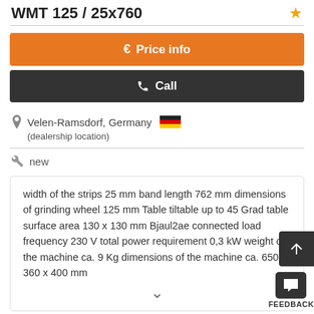WMT 125 / 25x760
€ Price info
Call
Velen-Ramsdorf, Germany
(dealership location)
new
width of the strips 25 mm band length 762 mm dimensions of grinding wheel 125 mm Table tiltable up to 45 Grad table surface area 130 x 130 mm Bjaul2ae connected load frequency 230 V total power requirement 0,3 kW weight of the machine ca. 9 Kg dimensions of the machine ca. 650 x 360 x 400 mm